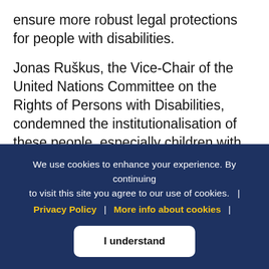ensure more robust legal protections for people with disabilities.
Jonas Ruškus, the Vice-Chair of the United Nations Committee on the Rights of Persons with Disabilities, condemned the institutionalisation of these people, especially children with disabilities, individuals with intellectual or psychosocial disabilities, and those on the autistic spectrum. Shockingly, he said, such institutionalisation exists across Member States of
We use cookies to enhance your experience. By continuing to visit this site you agree to our use of cookies.  |  Privacy Policy  |  More info about cookies  |
I understand